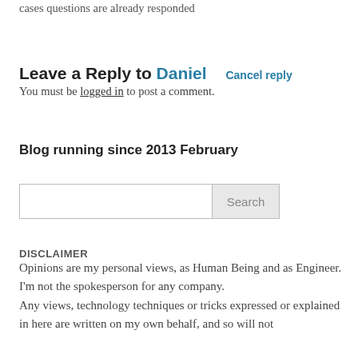cases questions are already responded
Leave a Reply to Daniel   Cancel reply
You must be logged in to post a comment.
Blog running since 2013 February
[Search input and Search button]
DISCLAIMER
Opinions are my personal views, as Human Being and as Engineer.
I'm not the spokesperson for any company.
Any views, technology techniques or tricks expressed or explained in here are written on my own behalf, and so will not